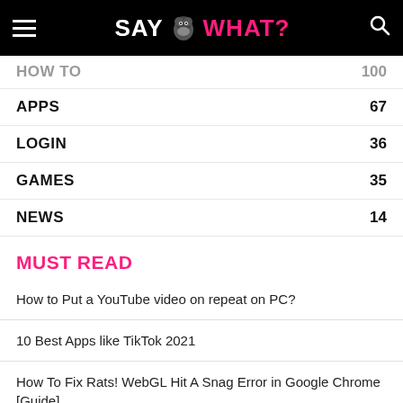SAY WHAT?
HOW TO   100
APPS   67
LOGIN   36
GAMES   35
NEWS   14
MUST READ
How to Put a YouTube video on repeat on PC?
10 Best Apps like TikTok 2021
How To Fix Rats! WebGL Hit A Snag Error in Google Chrome [Guide]